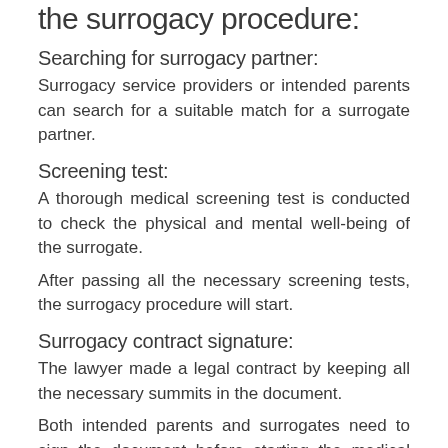the surrogacy procedure:
Searching for surrogacy partner:
Surrogacy service providers or intended parents can search for a suitable match for a surrogate partner.
Screening test:
A thorough medical screening test is conducted to check the physical and mental well-being of the surrogate.
After passing all the necessary screening tests, the surrogacy procedure will start.
Surrogacy contract signature:
The lawyer made a legal contract by keeping all the necessary summits in the document.
Both intended parents and surrogates need to sign the document before starting the medical treatment.
Embryo transfer: